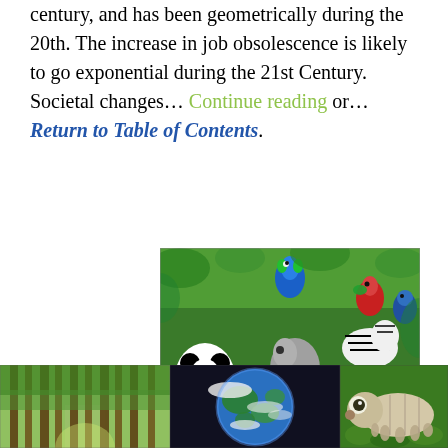century, and has been geometrically during the 20th. The increase in job obsolescence is likely to go exponential during the 21st Century. Societal changes… Continue reading or… Return to Table of Contents.
[Figure (photo): A dense collage of many wild animals including pandas, tigers, leopards, lions, zebras, monkeys, macaws, parrots, bears, and other wildlife crowded together in a colorful illustration.]
[Figure (photo): A forest of tall straight green trees with a path through them, sunlight filtering through.]
[Figure (photo): A photograph of Earth from space showing blue oceans and white clouds.]
[Figure (photo): A close-up macro photograph of a tardigrade (water bear) on green moss.]